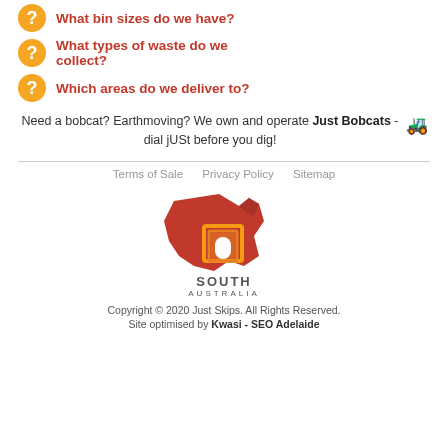What bin sizes do we have?
What types of waste do we collect?
Which areas do we deliver to?
Need a bobcat? Earthmoving? We own and operate Just Bobcats - dial jUSt before you dig!
Terms of Sale   Privacy Policy   Sitemap
[Figure (logo): South Australia logo - red map of Australia shape with orange and yellow door/arch icon, text reads SOUTH AUSTRALIA]
Copyright © 2020 Just Skips. All Rights Reserved.
Site optimised by Kwasi - SEO Adelaide